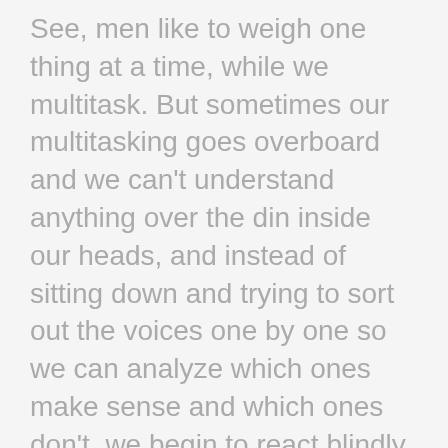See, men like to weigh one thing at a time, while we multitask. But sometimes our multitasking goes overboard and we can't understand anything over the din inside our heads, and instead of sitting down and trying to sort out the voices one by one so we can analyze which ones make sense and which ones don't, we begin to react blindly in an attempt to justify our emotions.
Let me paint you a picture.
Last night my husband was watching football while I worked away in my office, making sure Comeback Queen would be ready for my editor to dive into the next morning. Having finally reached my 'good enough' moment I went to the living room and started asking questions about why he